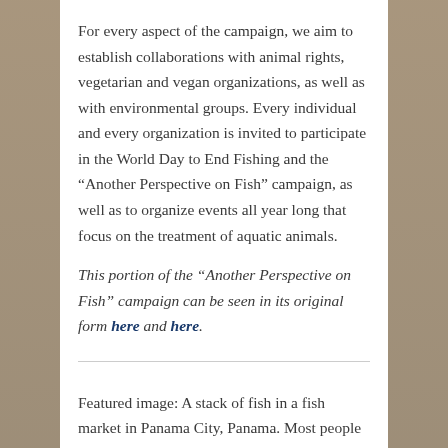For every aspect of the campaign, we aim to establish collaborations with animal rights, vegetarian and vegan organizations, as well as with environmental groups. Every individual and every organization is invited to participate in the World Day to End Fishing and the “Another Perspective on Fish” campaign, as well as to organize events all year long that focus on the treatment of aquatic animals.
This portion of the “Another Perspective on Fish” campaign can be seen in its original form here and here.
Featured image: A stack of fish in a fish market in Panama City, Panama. Most people see scenes like